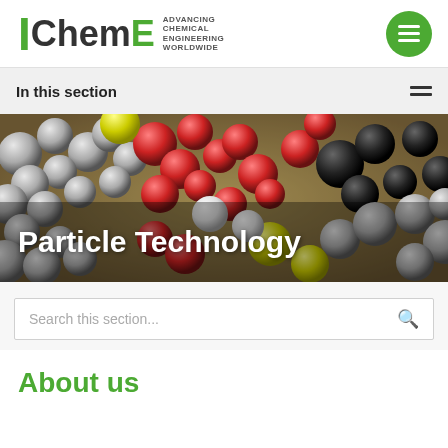[Figure (logo): IChemE logo with green I, black Chem, green E, and tagline ADVANCING CHEMICAL ENGINEERING WORLDWIDE]
In this section
[Figure (photo): Close-up 3D rendered image of colorful molecular structures/particles — grey, red, yellow and black spheres clustered together on a warm golden background, with the text 'Particle Technology' overlaid in white bold font]
Particle Technology
Search this section...
About us